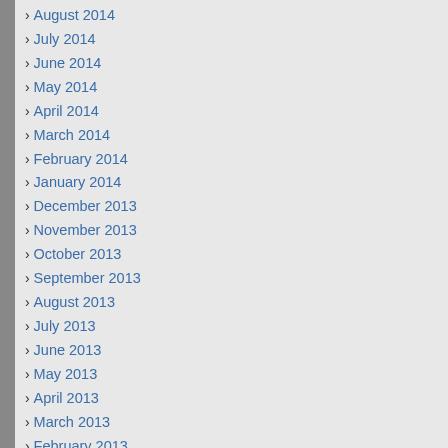August 2014
July 2014
June 2014
May 2014
April 2014
March 2014
February 2014
January 2014
December 2013
November 2013
October 2013
September 2013
August 2013
July 2013
June 2013
May 2013
April 2013
March 2013
February 2013
January 2013
December 2012
November 2012
October 2012
September 2012
August 2012
July 2012
Filed under Coronavirus, Eucharist, News  Tagged Eucharist, Mass
Comment (RSS) | Trackback |
6 Comments
Thomas House says:
March 17, 2020 at 7:11 pm
Fr. Jeff, Thank you for all of blog, suggestions and webs for masses, prayers, adoration the eucharist, as well as yo prayers to help us stay focu Jesus' sacrifice for us and g through this crisis.
Fr. Jeff says:
March 17, 2020 at 7:13 pm
You are welcome. It is the H Spirit leading the way.